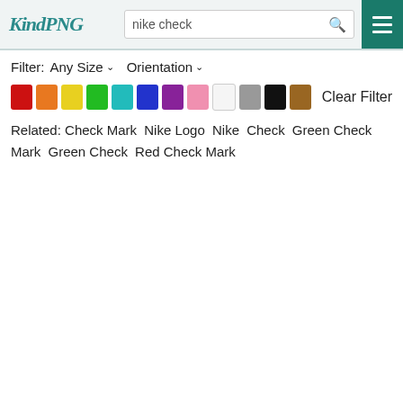[Figure (screenshot): Website header with KindPNG logo, search box containing 'nike check', search icon, and teal hamburger menu button]
Filter:  Any Size ˅   Orientation ˅
[Figure (infographic): Row of color swatches: red, orange, yellow, green, teal, blue, purple, pink, white, gray, black, brown followed by 'Clear Filter' text]
Related: Check Mark  Nike Logo  Nike  Check  Green Check Mark  Green Check  Red Check Mark